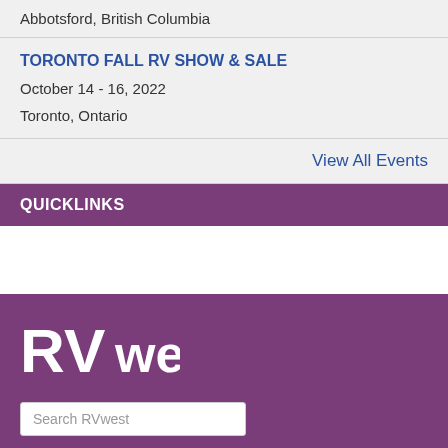Abbotsford, British Columbia
TORONTO FALL RV SHOW & SALE
October 14 - 16, 2022
Toronto, Ontario
View All Events
QUICKLINKS
[Figure (logo): RVwest logo in white on purple background]
Search RVwest